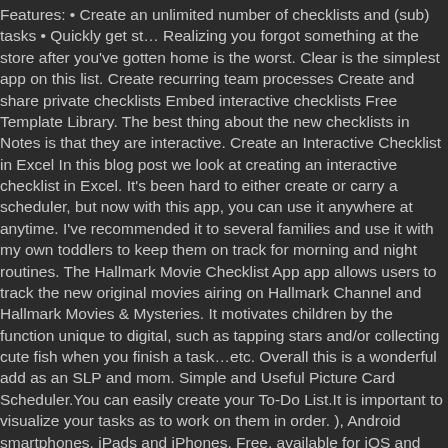Features: • Create an unlimited number of checklists and (sub) tasks • Quickly get st… Realizing you forgot something at the store after you've gotten home is the worst. Clear is the simplest app on this list. Create recurring team processes Create and share private checklists Embed interactive checklists Free Template Library. The best thing about the new checklists in Notes is that they are interactive. Create an Interactive Checklist in Excel In this blog post we look at creating an interactive checklist in Excel. It's been hard to either create or carry a scheduler, but now with this app, you can use it anywhere at anytime. I've recommended it to several families and use it with my own toddlers to keep them on track for morning and night routines. The Hallmark Movie Checklist App app allows users to track the new original movies airing on Hallmark Channel and Hallmark Movies & Mysteries. It motivates children by the function unique to digital, such as tapping stars and/or collecting cute fish when you finish a task…etc. Overall this is a wonderful add as an SLP and mom. Simple and Useful Picture Card Scheduler.You can easily create your To-Do List.It is important to visualize your tasks as to work on them in order. ), Android smartphones, iPads and iPhones. Free, available for iOS and Android